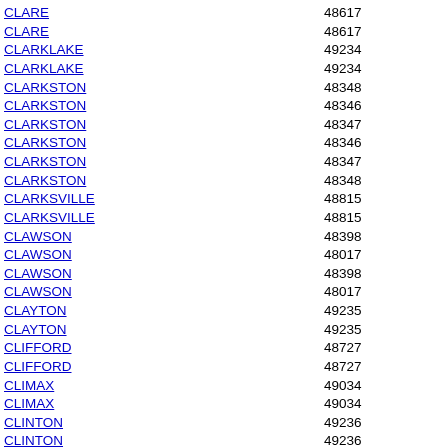CLARE 48617
CLARE 48617
CLARKLAKE 49234
CLARKLAKE 49234
CLARKSTON 48348
CLARKSTON 48346
CLARKSTON 48347
CLARKSTON 48346
CLARKSTON 48347
CLARKSTON 48348
CLARKSVILLE 48815
CLARKSVILLE 48815
CLAWSON 48398
CLAWSON 48017
CLAWSON 48398
CLAWSON 48017
CLAYTON 49235
CLAYTON 49235
CLIFFORD 48727
CLIFFORD 48727
CLIMAX 49034
CLIMAX 49034
CLINTON 49236
CLINTON 49236
CLINTON TOWNSHIP 48038
CLINTON TOWNSHIP 48036
CLINTON TOWNSHIP 48035
CLINTON TOWNSHIP 48038
CLINTON TOWNSHIP 48036
CLINTON TOWNSHIP 48035